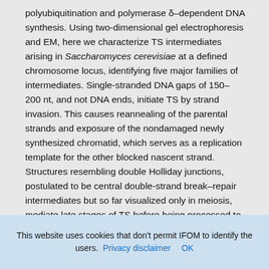polyubiquitination and polymerase δ–dependent DNA synthesis. Using two-dimensional gel electrophoresis and EM, here we characterize TS intermediates arising in Saccharomyces cerevisiae at a defined chromosome locus, identifying five major families of intermediates. Single-stranded DNA gaps of 150–200 nt, and not DNA ends, initiate TS by strand invasion. This causes reannealing of the parental strands and exposure of the nondamaged newly synthesized chromatid, which serves as a replication template for the other blocked nascent strand. Structures resembling double Holliday junctions, postulated to be central double-strand break–repair intermediates but so far visualized only in meiosis, mediate late stages of TS before being processed to hemicatenanes. Our results reveal the DNA transitions accounting for recombination-mediated DNA-damage tolerance in mitotic cells and replication under conditions
This website uses cookies that don't permit IFOM to identify the users. Privacy disclaimer   OK